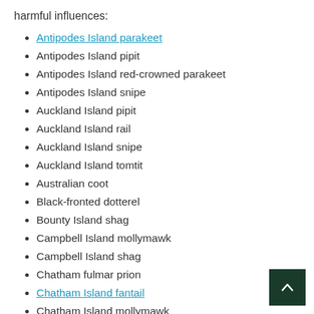harmful influences:
Antipodes Island parakeet
Antipodes Island pipit
Antipodes Island red-crowned parakeet
Antipodes Island snipe
Auckland Island pipit
Auckland Island rail
Auckland Island snipe
Auckland Island tomtit
Australian coot
Black-fronted dotterel
Bounty Island shag
Campbell Island mollymawk
Campbell Island shag
Chatham fulmar prion
Chatham Island fantail
Chatham Island mollymawk
Chatham Island red-crowned parakeet